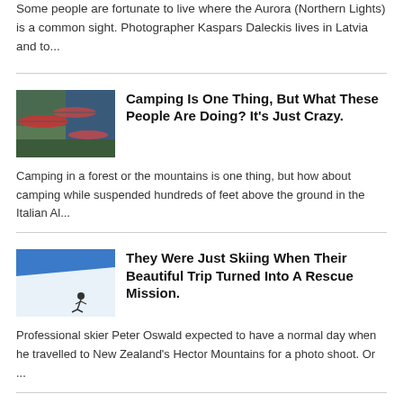Some people are fortunate to live where the Aurora (Northern Lights) is a common sight. Photographer Kaspars Daleckis lives in Latvia and to...
[Figure (photo): Hammocks and tents suspended high above a cliff face in the Italian Alps, camping in the air]
Camping Is One Thing, But What These People Are Doing? It's Just Crazy.
Camping in a forest or the mountains is one thing, but how about camping while suspended hundreds of feet above the ground in the Italian Al...
[Figure (photo): A skier descending a steep snowy mountain slope under blue sky]
They Were Just Skiing When Their Beautiful Trip Turned Into A Rescue Mission.
Professional skier Peter Oswald expected to have a normal day when he travelled to New Zealand's Hector Mountains for a photo shoot. Or ...
[Figure (photo): Glass igloos at night with dark sky background]
Glass Igloos with